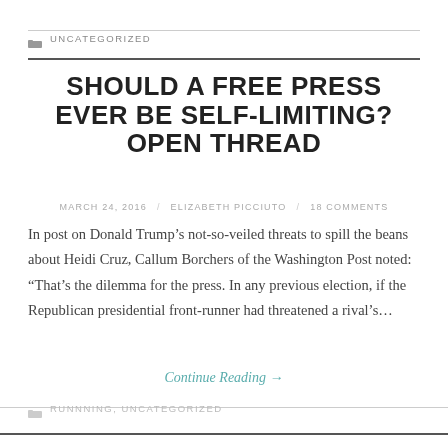UNCATEGORIZED
SHOULD A FREE PRESS EVER BE SELF-LIMITING? OPEN THREAD
MARCH 24, 2016 / ELIZABETH PICCIUTO / 18 COMMENTS
In post on Donald Trump’s not-so-veiled threats to spill the beans about Heidi Cruz, Callum Borchers of the Washington Post noted: “That’s the dilemma for the press. In any previous election, if the Republican presidential front-runner had threatened a rival’s…
Continue Reading →
RUNNNING, UNCATEGORIZED